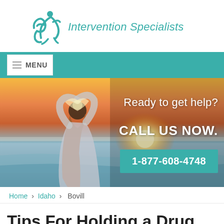[Figure (logo): Intervention Specialists logo with teal figure/person icon and teal text]
[Figure (screenshot): Teal navigation menu bar with hamburger icon and MENU text in a white box]
[Figure (photo): Hero image of a woman at the beach making a heart shape with her hands toward the sunset, with overlay text 'Ready to get help?', 'CALL US NOW.' and a teal button '1-877-608-4748']
Home › Idaho › Bovill
Tips For Holding a Drug and